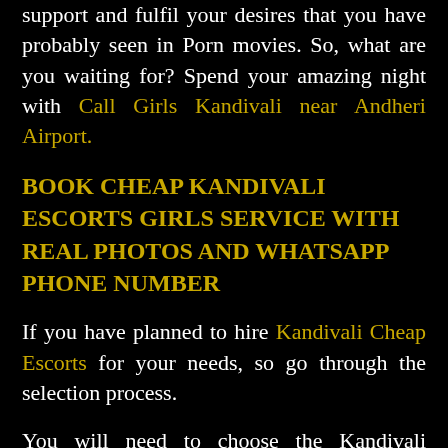support and fulfil your desires that you have probably seen in Porn movies. So, what are you waiting for? Spend your amazing night with Call Girls Kandivali near Andheri Airport.
BOOK CHEAP KANDIVALI ESCORTS GIRLS SERVICE WITH REAL PHOTOS AND WHATSAPP PHONE NUMBER
If you have planned to hire Kandivali Cheap Escorts for your needs, so go through the selection process.
You will need to choose the Kandivali Models Escorts you want to spend a night with Low Price Kandivali Russian Escorts. Once decided, share Kandivali Hotels Escorts details and the Independent